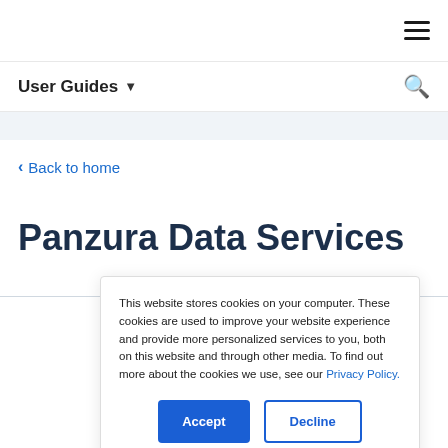☰
User Guides ▾   🔍
< Back to home
Panzura Data Services
This website stores cookies on your computer. These cookies are used to improve your website experience and provide more personalized services to you, both on this website and through other media. To find out more about the cookies we use, see our Privacy Policy.
Accept   Decline